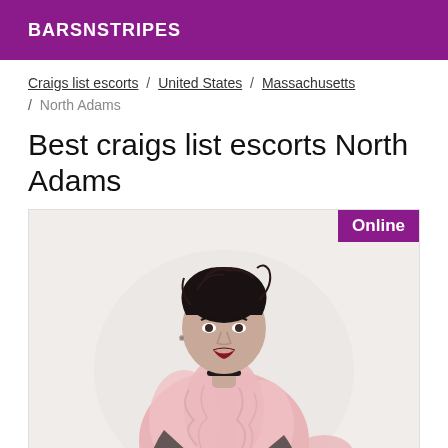BARSNSTRIPES
Craigs list escorts / United States / Massachusetts / North Adams
Best craigs list escorts North Adams
[Figure (photo): Fashion portrait of a young woman with dark upswept hair wearing a pink fluffy fur coat and a black choker, posed against a light background. An 'Online' badge appears in the top-right corner of the image frame.]